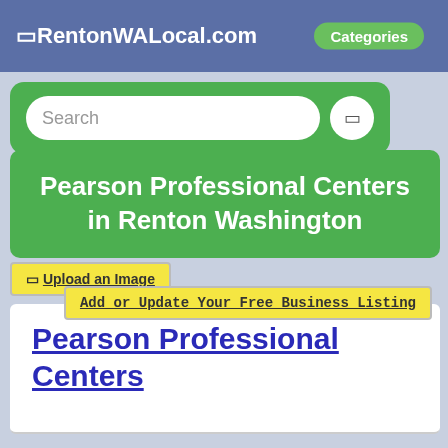🔲 RentonWALocal.com   Categories
[Figure (screenshot): Search bar with green background, rounded white input field labeled 'Search' and a small icon button]
Pearson Professional Centers in Renton Washington
🖼 Upload an Image
Add or Update Your Free Business Listing
Pearson Professional Centers